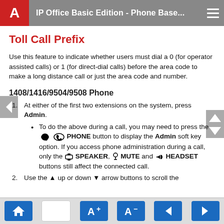IP Office Basic Edition - Phone Base...
Toll Call Prefix
Use this feature to indicate whether users must dial a 0 (for operator assisted calls) or 1 (for direct-dial calls) before the area code to make a long distance call or just the area code and number.
1408/1416/9504/9508 Phone
1. At either of the first two extensions on the system, press Admin.
• To do the above during a call, you may need to press the PHONE button to display the Admin soft key option. If you access phone administration during a call, only the SPEAKER, MUTE and HEADSET buttons still affect the connected call.
2. Use the up or down arrow buttons to scroll the